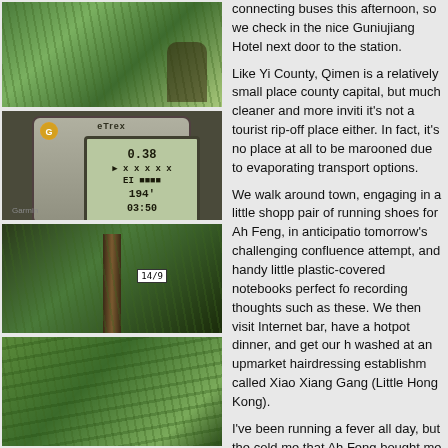[Figure (photo): Person in dense bamboo/grass vegetation]
[Figure (photo): Garmin GPS device showing reading 0.38, 194, 03:50]
[Figure (photo): Bamboo or grass forest path with tree trunk]
[Figure (photo): Dense tropical grass or bamboo vegetation]
connecting buses this afternoon, so we check in nice Guniujiang Hotel next door to the station.
Like Yi County, Qimen is a relatively small place county capital, but much cleaner and more inviting it's not a tourist rip-off place either. In fact, it's no place at all to be marooned due to evaporating transport options.
We walk around town, engaging in a little shopping pair of running shoes for Ah Feng, in anticipation tomorrow's challenging confluence attempt, and handy little plastic-covered notebooks perfect for recording thoughts such as these. We then visit Internet bar, have a hotpot dinner, and get our hair washed at an upmarket hairdressing establishment called Xiao Xiang Gang (Little Hong Kong).
I've been running a fever all day, but the cold medicine that Ah Feng bought me this morning is now starting to take effect, and I begin to feel much better.
Mon 8 Aug 2005 (Day 11), 5:30 a.m. - Finally, at last, it dawns a sunny day.
6:30 a.m. - We get a bus NW to Shitai. It follows a winding, bumpy road through the mountains.
9:10 a.m. - When we finally arrive in Shitai, the ticket seller on the bus convinces us to stay on board all the way NW to the outskirts of Anqing, from where h